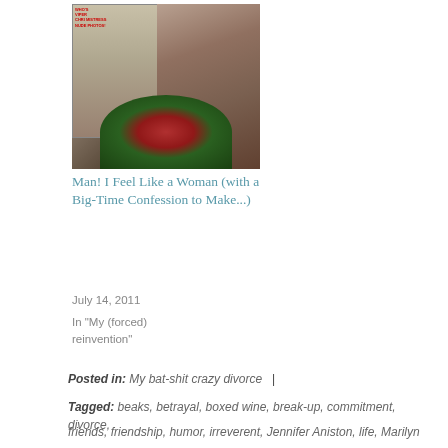[Figure (photo): Person holding a magazine with flowers (bouquet of red and white roses)]
Man! I Feel Like a Woman (with a Big-Time Confession to Make...)
July 14, 2011
In "My (forced) reinvention"
Posted in: My bat-shit crazy divorce  |
Tagged: beaks, betrayal, boxed wine, break-up, commitment, divorce, friends, friendship, humor, irreverent, Jennifer Aniston, life, Marilyn